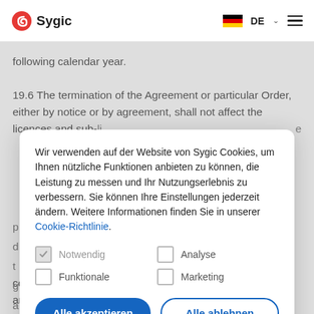Sygic | DE
following calendar year.
19.6 The termination of the Agreement or particular Order, either by notice or by agreement, shall not affect the licences and sub-li...e
[Figure (screenshot): Cookie consent modal dialog overlaying the page. Contains German text about cookies, checkboxes for Notwendig, Funktionale, Analyse, Marketing, and two buttons: Alle akzeptieren and Alle ablehnen.]
collecting past due amounts. The Parties agree that the amount of